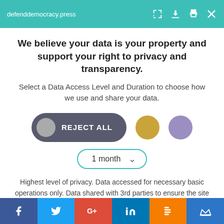defenddemocracy.press
We believe your data is your property and support your right to privacy and transparency.
Select a Data Access Level and Duration to choose how we use and share your data.
[Figure (infographic): Privacy consent UI with REJECT ALL button (dark grey pill with grey circle icon), a gold circle button, a purple circle button, and a '1 month' dropdown selector with teal border.]
Highest level of privacy. Data accessed for necessary basic operations only. Data shared with 3rd parties to ensure the site is secure and works on your device
Save my preferences
Social share bar: Facebook, Twitter, Google+, LinkedIn, Blogger, Crown